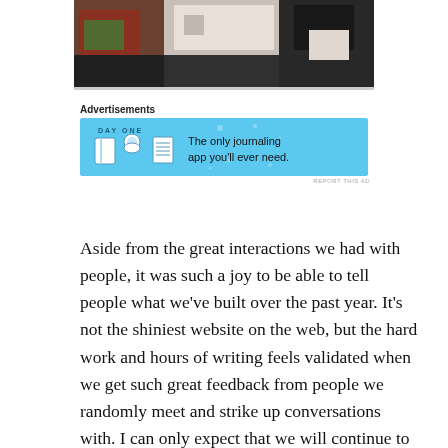[Figure (photo): Photo of people standing together, partially cropped. Three figures visible — one in colorful clothing on left, one in white t-shirt with a badge/sticker in center, one in black on right.]
Advertisements
[Figure (other): Advertisement banner for Day One journaling app. Light blue background with DAY ONE logo, three app icons (notebook, person, notepad), and text 'The only journaling app you'll ever need.']
REPORT THIS AD
Aside from the great interactions we had with people, it was such a joy to be able to tell people what we've built over the past year. It's not the shiniest website on the web, but the hard work and hours of writing feels validated when we get such great feedback from people we randomly meet and strike up conversations with. I can only expect that we will continue to grow, adding more quality writers and covering more ground than we do